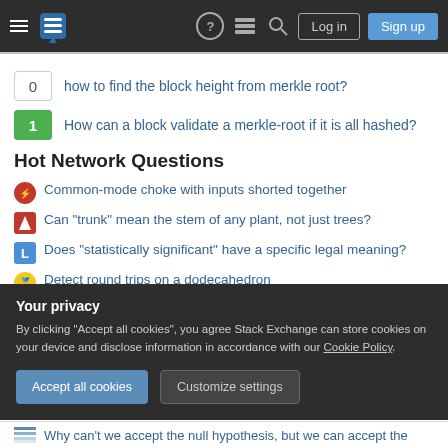Stack Exchange navigation bar with Log in and Sign up buttons
0 — how to find the block height from merkle root?
1 — How can a block validate a merkle-root if it is all hashed?
Hot Network Questions
Common-mode choke with inputs shorted together
Can "trunk" mean the stem of any plant, not just trees?
Does "statistically significant" have a specific legal meaning?
Detect round trips on a dodecahedron
Is it legal to publish a "copy" of the Constitution with fake text added?
Your privacy
By clicking "Accept all cookies", you agree Stack Exchange can store cookies on your device and disclose information in accordance with our Cookie Policy.
Why can't we accept the null hypothesis, but we can accept the